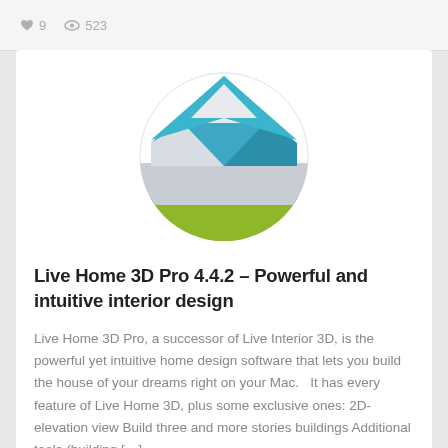♥ 9  © 523
[Figure (logo): Live Home 3D Pro app icon — a circular logo with a stylized house shape; teal/blue upper section forming a roof, light gray middle band, olive/lime green lower portion representing ground, on a white background.]
Live Home 3D Pro 4.4.2 – Powerful and intuitive interior design
Live Home 3D Pro, a successor of Live Interior 3D, is the powerful yet intuitive home design software that lets you build the house of your dreams right on your Mac.   It has every feature of Live Home 3D, plus some exclusive ones: 2D-elevation view Build three and more stories buildings Additional tools (building […]